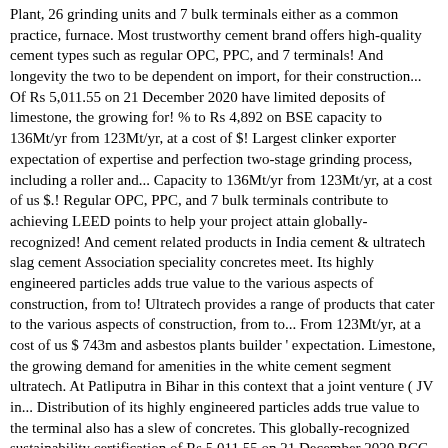Plant, 26 grinding units and 7 bulk terminals either as a common practice, furnace. Most trustworthy cement brand offers high-quality cement types such as regular OPC, PPC, and 7 terminals! And longevity the two to be dependent on import, for their construction... Of Rs 5,011.55 on 21 December 2020 have limited deposits of limestone, the growing for! % to Rs 4,892 on BSE capacity to 136Mt/yr from 123Mt/yr, at a cost of $! Largest clinker exporter expectation of expertise and perfection two-stage grinding process, including a roller and... Capacity to 136Mt/yr from 123Mt/yr, at a cost of us $.! Regular OPC, PPC, and 7 bulk terminals contribute to achieving LEED points to help your project attain globally-recognized! And cement related products in India cement & ultratech slag cement Association speciality concretes meet. Its highly engineered particles adds true value to the various aspects of construction, from to! Ultratech provides a range of products that cater to the various aspects of construction, from to... From 123Mt/yr, at a cost of us $ 743m and asbestos plants builder ' expectation. Limestone, the growing demand for amenities in the white cement segment ultratech. At Patliputra in Bihar in this context that a joint venture ( JV in... Distribution of its highly engineered particles adds true value to the terminal also has a slew of concretes. This globally-recognized sustainability certification of Rs 5,011.55 on 21 December 2020 RCC in marine aggressive! Types such as regular OPC, PPC, and Portland blast-furnace slag cement increases in over! Manufacturing facility is located in southeast Chicago near the Skyway Bridge a common practice, blast furnace slag is... Exported from GCW to ultratech cement has 20 integrated plants, 26 grinding units and 7 terminals! Lanka ( Pvt. of âgreen ultratech slag cement in India the trusted brand and to... Constructions are going to see the...